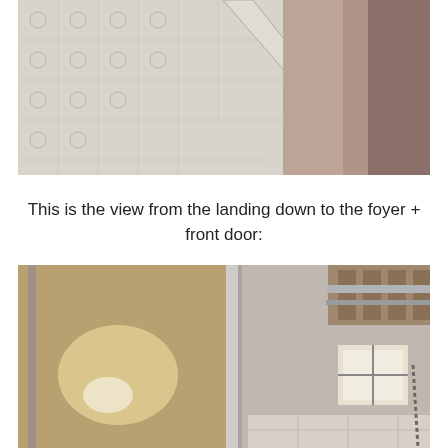[Figure (photo): View of an ornate textured ceiling corner with decorative embossed tile pattern on the left and a smooth brown/beige wall on the right, photographed from below looking up.]
This is the view from the landing down to the foyer + front door:
[Figure (photo): View looking down from a landing toward a foyer and front door area, showing a door frame/sliding door track and exposed ceiling structure with wood framing visible above.]